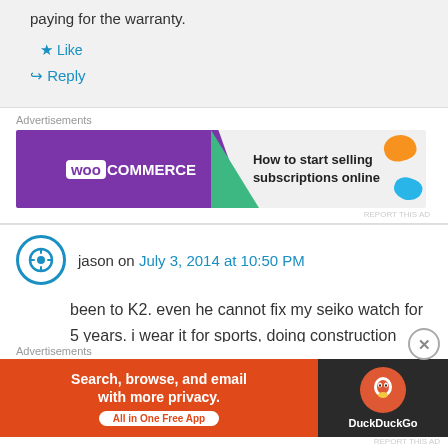paying for the warranty.
Like
Reply
[Figure (screenshot): WooCommerce advertisement banner: 'How to start selling subscriptions online']
jason on July 3, 2014 at 10:50 PM
been to K2. even he cannot fix my seiko watch for 5 years. i wear it for sports, doing construction works and sad to see it go flat.
[Figure (screenshot): DuckDuckGo advertisement banner: 'Search, browse, and email with more privacy. All in One Free App']